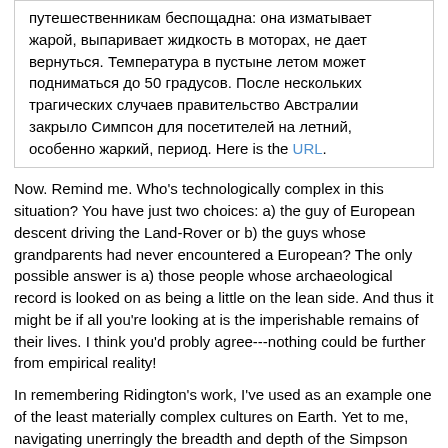путешественникам беспощадна: она изматывает жарой, выпаривает жидкость в моторах, не дает вернуться. Температура в пустыне летом может подниматься до 50 градусов. После нескольких трагических случаев правительство Австралии закрыло Симпсон для посетителей на летний, особенно жаркий, период. Here is the URL.
Now. Remind me. Who's technologically complex in this situation? You have just two choices: a) the guy of European descent driving the Land-Rover or b) the guys whose grandparents had never encountered a European? The only possible answer is a) those people whose archaeological record is looked on as being a little on the lean side. And thus it might be if all you're looking at is the imperishable remains of their lives. I think you'd probly agree---nothing could be further from empirical reality!
In remembering Ridington's work, I've used as an example one of the least materially complex cultures on Earth. Yet to me, navigating unerringly the breadth and depth of the Simpson Desert with nothing but one's eyes and memories makes Aboriginal knowledge the Eighth Wonder of the World---ancient and modern.